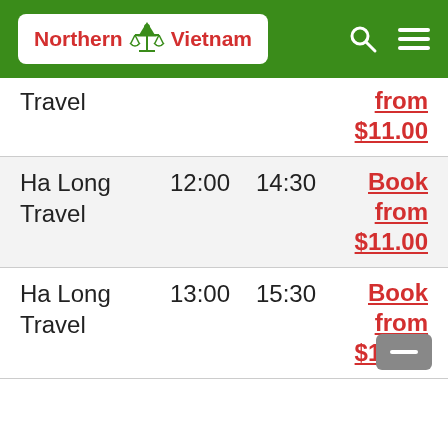Northern Vietnam
| Company | Depart | Arrive | Book |
| --- | --- | --- | --- |
| Ha Long Travel |  |  | from $11.00 |
| Ha Long Travel | 12:00 | 14:30 | Book from $11.00 |
| Ha Long Travel | 13:00 | 15:30 | Book from $11.00 |